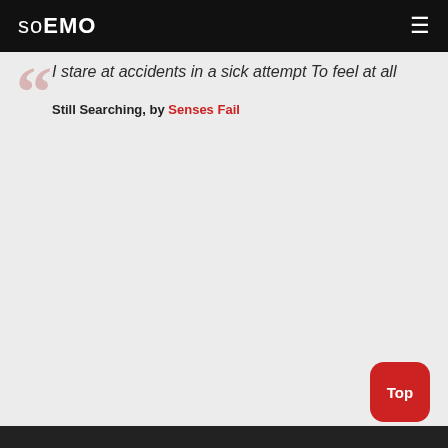soEMO
I stare at accidents in a sick attempt To feel at all
Still Searching, by Senses Fail
Top